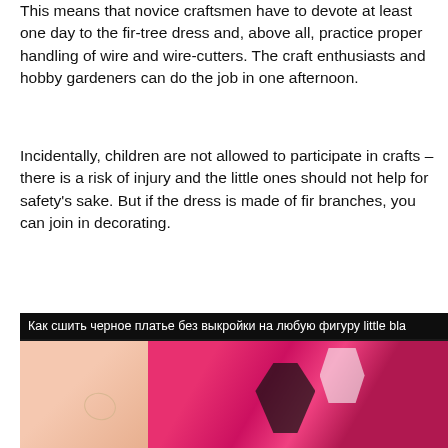This means that novice craftsmen have to devote at least one day to the fir-tree dress and, above all, practice proper handling of wire and wire-cutters. The craft enthusiasts and hobby gardeners can do the job in one afternoon.
Incidentally, children are not allowed to participate in crafts – there is a risk of injury and the little ones should not help for safety's sake. But if the dress is made of fir branches, you can join in decorating.
[Figure (photo): A woman wearing a floral red, pink, black and white dress, showing neck and upper chest area with a necklace. A caption overlay reads: Как сшить черное платье без выкройки на любую фигуру little bla...]